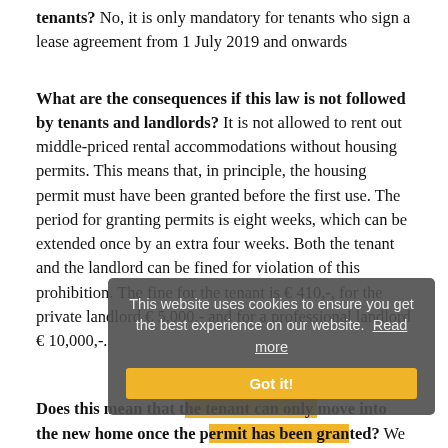tenants? No, it is only mandatory for tenants who sign a lease agreement from 1 July 2019 and onwards
What are the consequences if this law is not followed by tenants and landlords? It is not allowed to rent out middle-priced rental accommodations without housing permits. This means that, in principle, the housing permit must have been granted before the first use. The period for granting permits is eight weeks, which can be extended once by an extra four weeks. Both the tenant and the landlord can be fined for violation of this prohibition. The fine for the tenant is € 410,-, for the private landlord € 5,000,- and for a professional landlord € 10,000,-.
[Figure (other): Cookie consent banner overlay with grey background: 'This website uses cookies to ensure you get the best experience on our website. Read more' and a yellow 'Got it!' button]
Does this mean that the tenant can only move into the new home once the permit has been granted? We believe that if the tenant meets the income requirement and there